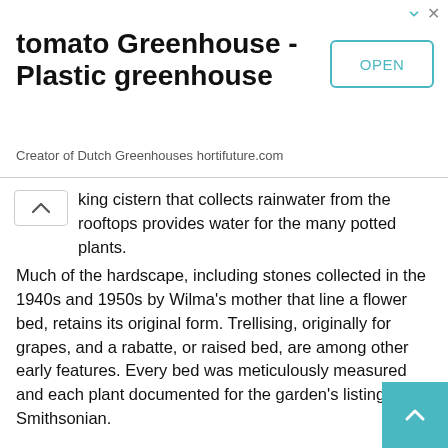[Figure (screenshot): Advertisement banner for 'tomato Greenhouse - Plastic greenhouse' by hortifuture.com with an OPEN button, arrow icon, and close icon in the top right.]
king cistern that collects rainwater from the rooftops provides water for the many potted plants.
Much of the hardscape, including stones collected in the 1940s and 1950s by Wilma’s mother that line a flower bed, retains its original form. Trellising, originally for grapes, and a rabatte, or raised bed, are among other early features. Every bed was meticulously measured and each plant documented for the garden’s listing in the Smithsonian.
Organic and no-till methods are practiced in the vegetable garden, which includes heirloom varieties such as egg lettuce, black salsify (Scorzonera hispanica) and ground cherries (Physalis) from which Wilma carefully collects seeds, in addition to canning